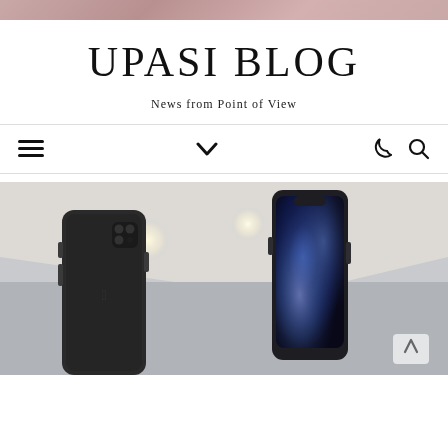UPASI BLOG
News from Point of View
[Figure (screenshot): Navigation bar with hamburger menu icon, chevron/dropdown icon, moon/dark-mode icon, and search icon]
[Figure (photo): Two iPhone 11 Pro smartphones on display stands against a light gray ceiling background. The left phone shows the rear triple-camera system, the right phone shows the front screen with a blue cloud wallpaper.]